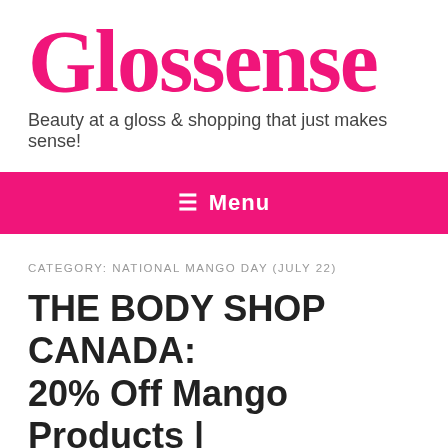[Figure (logo): Glossense logo — large pink serif wordmark with tagline 'Beauty at a gloss & shopping that just makes sense!']
≡  Menu
CATEGORY: NATIONAL MANGO DAY (JULY 22)
THE BODY SHOP CANADA: 20% Off Mango Products | National Mango Day 2020